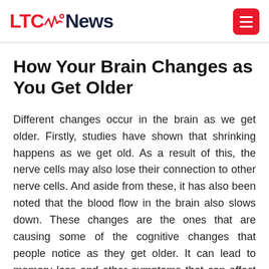LTC News
How Your Brain Changes as You Get Older
Different changes occur in the brain as we get older. Firstly, studies have shown that shrinking happens as we get old. As a result of this, the nerve cells may also lose their connection to other nerve cells. And aside from these, it has also been noted that the blood flow in the brain also slows down. These changes are the ones that are causing some of the cognitive changes that people notice as they get older. It can lead to memory loss and other symptoms that can affect your